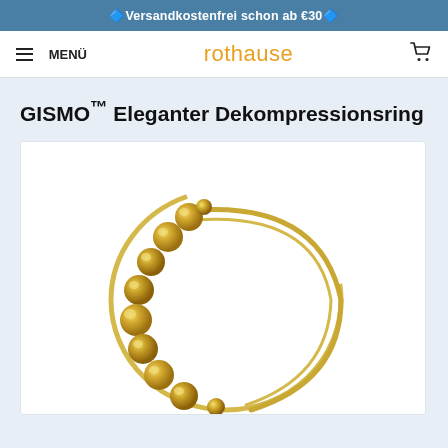🔷Versandkostenfrei schon ab €30🔷
≡ MENÜ   rothause   🛒
GISMO™ Eleganter Dekompressionsring
[Figure (photo): Gold-colored beaded fidget/decompression ring on white background, showing circular band with multiple spherical gold beads on one side]